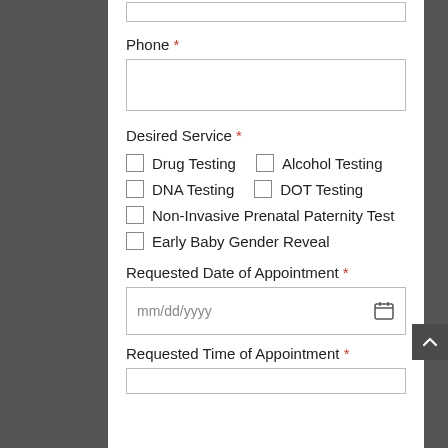Phone *
Desired Service *
Drug Testing
Alcohol Testing
DNA Testing
DOT Testing
Non-Invasive Prenatal Paternity Test
Early Baby Gender Reveal
Requested Date of Appointment *
mm/dd/yyyy
Requested Time of Appointment *